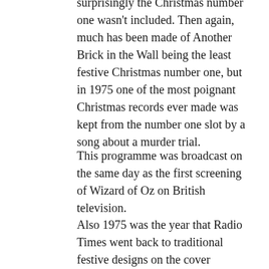surprisingly the Christmas number one wasn't included. Then again, much has been made of Another Brick in the Wall being the least festive Christmas number one, but in 1975 one of the most poignant Christmas records ever made was kept from the number one slot by a song about a murder trial.
This programme was broadcast on the same day as the first screening of Wizard of Oz on British television.
Also 1975 was the year that Radio Times went back to traditional festive designs on the cover
★ Like
Reply